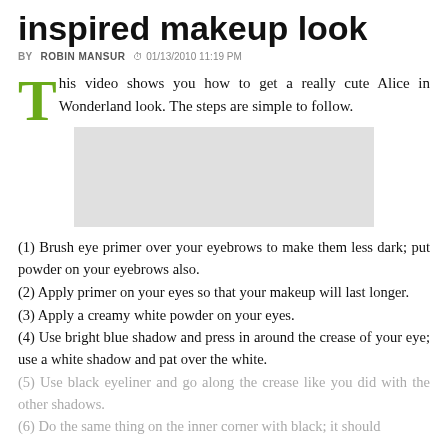inspired makeup look
BY ROBIN MANSUR   01/13/2010 11:19 PM
This video shows you how to get a really cute Alice in Wonderland look. The steps are simple to follow.
[Figure (other): Gray placeholder rectangle representing an embedded video]
(1) Brush eye primer over your eyebrows to make them less dark; put powder on your eyebrows also.
(2) Apply primer on your eyes so that your makeup will last longer.
(3) Apply a creamy white powder on your eyes.
(4) Use bright blue shadow and press in around the crease of your eye; use a white shadow and pat over the white.
(5) Use black eyeliner and go along the crease like you did with the other shadows.
(6) Do the same thing on the inner corner with black; it should